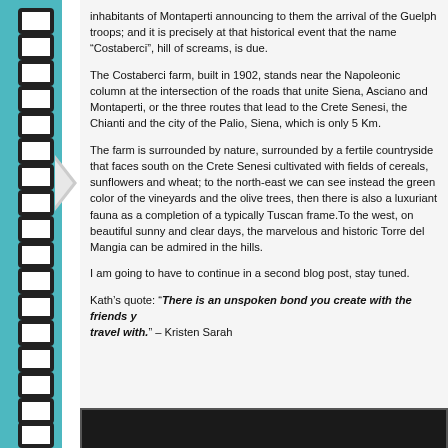inhabitants of Montaperti announcing to them the arrival of the Guelph troops; and it is precisely at that historical event that the name “Costaberci”, hill of screams, is due.
The Costaberci farm, built in 1902, stands near the Napoleonic column at the intersection of the roads that unite Siena, Asciano and Montaperti, or the three routes that lead to the Crete Senesi, the Chianti and the city of the Palio, Siena, which is only 5 Km.
The farm is surrounded by nature, surrounded by a fertile countryside that faces south on the Crete Senesi cultivated with fields of cereals, sunflowers and wheat; to the north-east we can see instead the green color of the vineyards and the olive trees, then there is also a luxuriant fauna as a completion of a typically Tuscan frame.To the west, on beautiful sunny and clear days, the marvelous and historic Torre del Mangia can be admired in the hills.
I am going to have to continue in a second blog post, stay tuned.
Kath’s quote: “There is an unspoken bond you create with the friends you travel with.” – Kristen Sarah
[Figure (photo): Dark/black image strip at the bottom of the page]